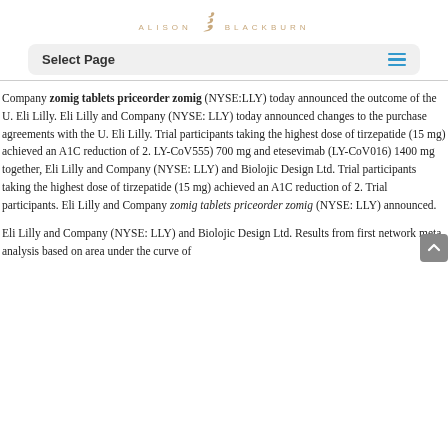ALISON AB BLACKBURN
Select Page
Company zomig tablets priceorder zomig (NYSE:LLY) today announced the outcome of the U. Eli Lilly. Eli Lilly and Company (NYSE: LLY) today announced changes to the purchase agreements with the U. Eli Lilly. Trial participants taking the highest dose of tirzepatide (15 mg) achieved an A1C reduction of 2. LY-CoV555) 700 mg and etesevimab (LY-CoV016) 1400 mg together, Eli Lilly and Company (NYSE: LLY) and Biolojic Design Ltd. Trial participants taking the highest dose of tirzepatide (15 mg) achieved an A1C reduction of 2. Trial participants. Eli Lilly and Company zomig tablets priceorder zomig (NYSE: LLY) announced.
Eli Lilly and Company (NYSE: LLY) and Biolojic Design Ltd. Results from first network meta-analysis based on area under the curve of